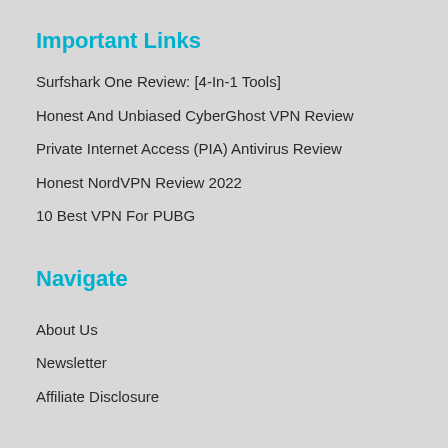Important Links
Surfshark One Review: [4-In-1 Tools]
Honest And Unbiased CyberGhost VPN Review
Private Internet Access (PIA) Antivirus Review
Honest NordVPN Review 2022
10 Best VPN For PUBG
Navigate
About Us
Newsletter
Affiliate Disclosure